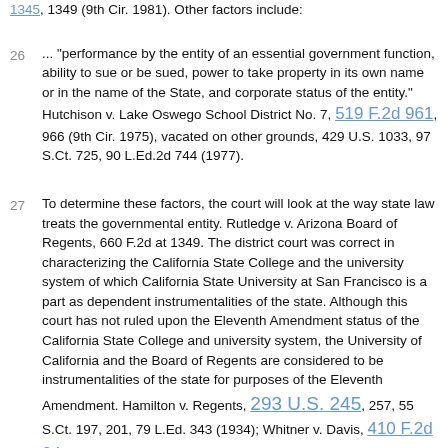1345, 1349 (9th Cir. 1981). Other factors include:
26 ... "performance by the entity of an essential government function, ability to sue or be sued, power to take property in its own name or in the name of the State, and corporate status of the entity." Hutchison v. Lake Oswego School District No. 7, 519 F.2d 961, 966 (9th Cir. 1975), vacated on other grounds, 429 U.S. 1033, 97 S.Ct. 725, 90 L.Ed.2d 744 (1977).
27 To determine these factors, the court will look at the way state law treats the governmental entity. Rutledge v. Arizona Board of Regents, 660 F.2d at 1349. The district court was correct in characterizing the California State College and the university system of which California State University at San Francisco is a part as dependent instrumentalities of the state. Although this court has not ruled upon the Eleventh Amendment status of the California State College and university system, the University of California and the Board of Regents are considered to be instrumentalities of the state for purposes of the Eleventh Amendment. Hamilton v. Regents, 293 U.S. 245, 257, 55 S.Ct. 197, 201, 79 L.Ed. 343 (1934); Whitner v. Davis, 410 F.2d 24 (9th Cir. 1969) (the University and the Board of Regents are not "persons" within the meaning of 42 U.S.C. § 1983); In re Holoholo, 512 F.Supp. 889, 895 (D.Haw.1981); Vaughn v.